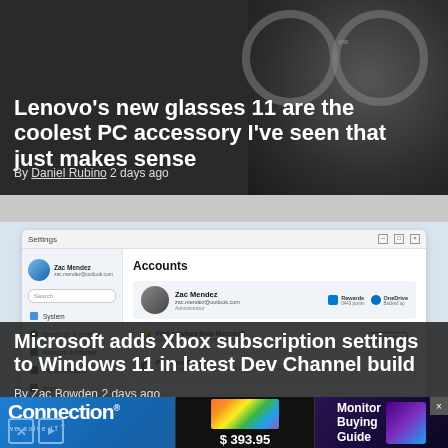Lenovo's new glasses 11 are the coolest PC accessory I've seen that just makes sense
By Daniel Rubino 2 days ago
[Figure (screenshot): Windows 11 Settings Accounts page screenshot]
Microsoft adds Xbox subscription settings to Windows 11 in latest Dev Channel build
By Zac Bowden 2 days ago
[Figure (infographic): Advertisement banner: Connection we solve IT, product image at $393.95, Monitor Buying Guide]